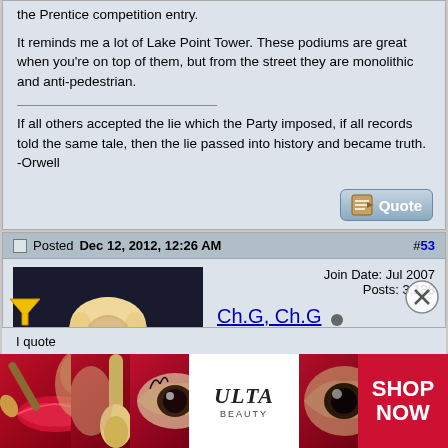the Prentice competition entry.
It reminds me a lot of Lake Point Tower. These podiums are great when you're on top of them, but from the street they are monolithic and anti-pedestrian.
If all others accepted the lie which the Party imposed, if all records told the same tale, then the lie passed into history and became truth. -Orwell
Posted Dec 12, 2012, 12:26 AM
#53
Join Date: Jul 2007
Posts: 3,138
Ch.G, Ch.G
Registered User
Quote:
Originally Posted by Zerton
The podium of Aqua is really abysmal from ground level. The entrance is understated for such a beautiful tower...
[Figure (photo): Advertisement banner for ULTA Beauty showing makeup products and faces with SHOP NOW text]